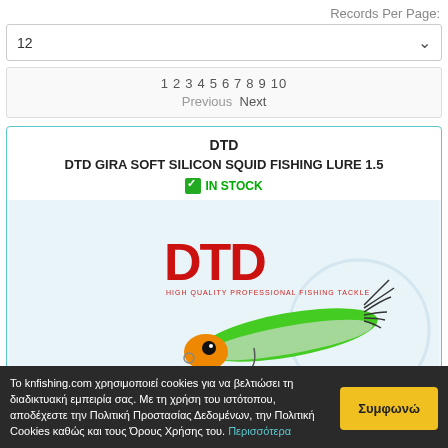Records Per Page:
12
1 2 3 4 5 6 7 8 9 10  Previous  Next
DTD
DTD GIRA SOFT SILICON SQUID FISHING LURE 1.5
IN STOCK
[Figure (photo): Product image of DTD Gira Soft Silicon Squid Fishing Lure 1.5, showing a green fishing lure with squid/prawn design, and color variants (BLUE, GREEN, RED, ORANGE, PINK) shown below]
Το knfishing.com χρησιμοποιεί cookies για να βελτιώσει τη διαδικτυακή εμπειρία σας. Με τη χρήση του ιστότοπου, αποδέχεστε την Πολιτική Προστασίας Δεδομένων, την Πολιτική Cookies καθώς και τους Όρους Χρήσης του. Περισσότερα